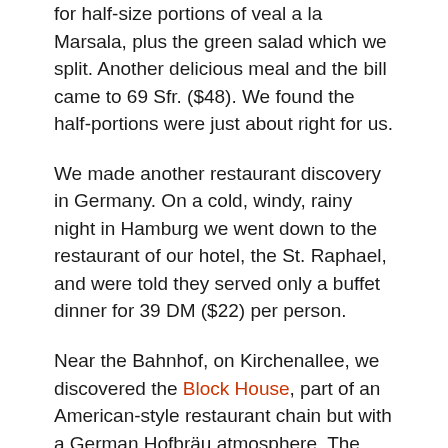for half-size portions of veal a la Marsala, plus the green salad which we split. Another delicious meal and the bill came to 69 Sfr. ($48). We found the half-portions were just about right for us.
We made another restaurant discovery in Germany. On a cold, windy, rainy night in Hamburg we went down to the restaurant of our hotel, the St. Raphael, and were told they served only a buffet dinner for 39 DM ($22) per person.
Near the Bahnhof, on Kirchenallee, we discovered the Block House, part of an American-style restaurant chain but with a German Hofbräu atmosphere. The decor was attractive and cozy and all the personnel near the door said Guten Abend when we arrived and Wiedersehen when we left. They feature American beef steaks, but we opted for turkey and ordered Putenbruststeak,